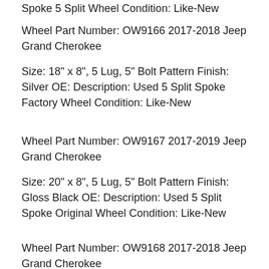Spoke 5 Split Wheel Condition: Like-New
Wheel Part Number: OW9166 2017-2018 Jeep Grand Cherokee
Size: 18" x 8", 5 Lug, 5" Bolt Pattern Finish: Silver OE: Description: Used 5 Split Spoke Factory Wheel Condition: Like-New
Wheel Part Number: OW9167 2017-2019 Jeep Grand Cherokee
Size: 20" x 8", 5 Lug, 5" Bolt Pattern Finish: Gloss Black OE: Description: Used 5 Split Spoke Original Wheel Condition: Like-New
Wheel Part Number: OW9168 2017-2018 Jeep Grand Cherokee